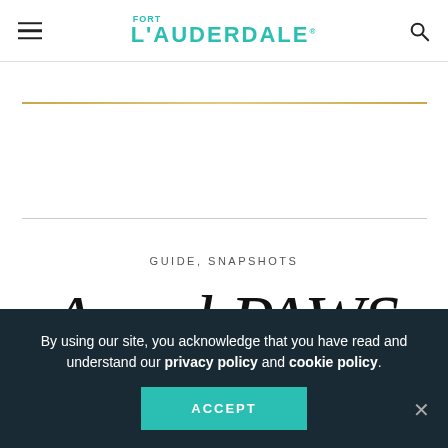FORT LAUDERDALE Magazine — navigation header with hamburger menu and search icon
GUIDE, SNAPSHOTS
Angel PAWS
By using our site, you acknowledge that you have read and understand our privacy policy and cookie policy.
ACCEPT